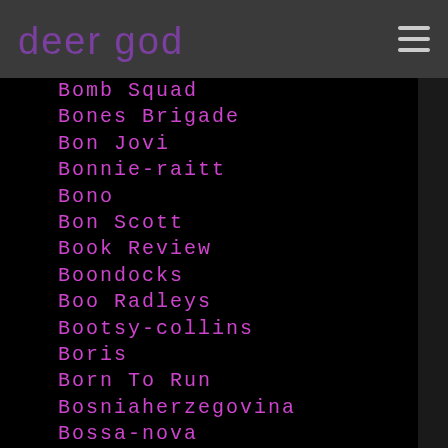deer god
Bomb Squad
Bones Brigade
Bon Jovi
Bonnie-raitt
Bono
Bon Scott
Book Review
Boondocks
Boo Radleys
Bootsy-collins
Boris
Born To Run
Bosniaherzegovina
Bossa-nova
Boston Celtics
Bouncing Souls
Bouncing-souls